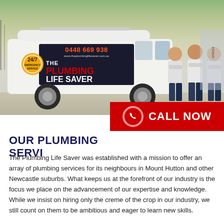[Figure (photo): Photo of The Plumbing Life Saver branded white van with phone number 0448 669 938, 24/7 emergency service badge, and three plumbers standing in front of it in a parking lot.]
CALL NOW
OUR PLUMBING SERVI...
The Plumbing Life Saver was established with a mission to offer an array of plumbing services for its neighbours in Mount Hutton and other Newcastle suburbs. What keeps us at the forefront of our industry is the focus we place on the advancement of our expertise and knowledge. While we insist on hiring only the creme of the crop in our industry, we still count on them to be ambitious and eager to learn new skills.